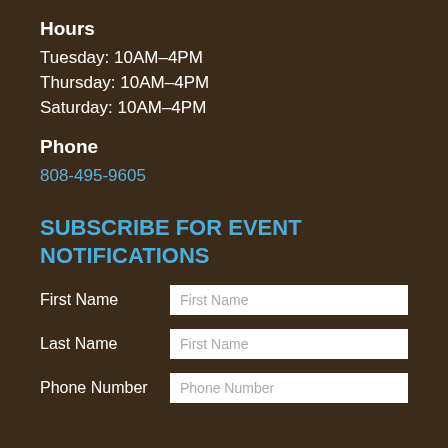Hours
Tuesday: 10AM–4PM
Thursday: 10AM–4PM
Saturday: 10AM–4PM
Phone
808-495-9605
SUBSCRIBE FOR EVENT NOTIFICATIONS
First Name
Last Name
Phone Number